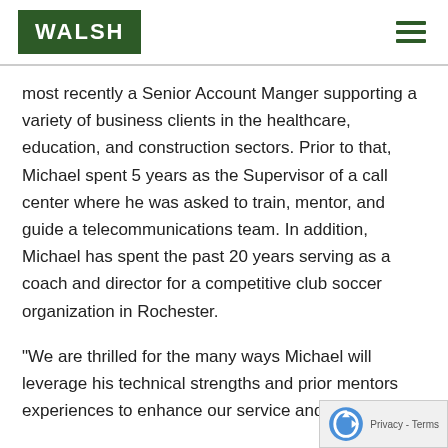WALSH
most recently a Senior Account Manger supporting a variety of business clients in the healthcare, education, and construction sectors. Prior to that, Michael spent 5 years as the Supervisor of a call center where he was asked to train, mentor, and guide a telecommunications team. In addition, Michael has spent the past 20 years serving as a coach and director for a competitive club soccer organization in Rochester.
"We are thrilled for the many ways Michael will leverage his technical strengths and prior mentors experiences to enhance our service and growth go